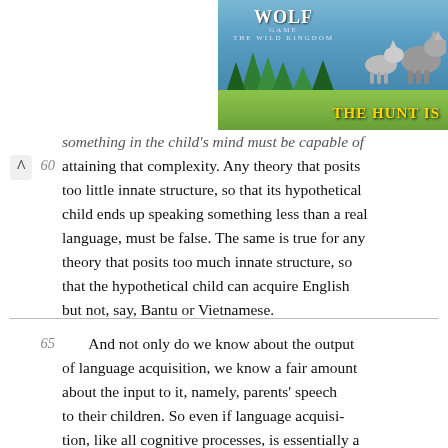[Figure (illustration): Wolf Game: The Wild Kingdom advertisement banner showing wolves in a forest meadow setting with the text 'WOLF GAME THE WILD KINGDOM' and 'THE HUNT IS' visible]
something in the child's mind must be capable of attaining that complexity. Any theory that posits too little innate structure, so that its hypothetical child ends up speaking something less than a real language, must be false. The same is true for any theory that posits too much innate structure, so that the hypothetical child can acquire English but not, say, Bantu or Vietnamese.
And not only do we know about the output of language acquisition, we know a fair amount about the input to it, namely, parents' speech to their children. So even if language acquisition, like all cognitive processes, is essentially a "black box," we know enough about its input and output to be able to make precise guesses about